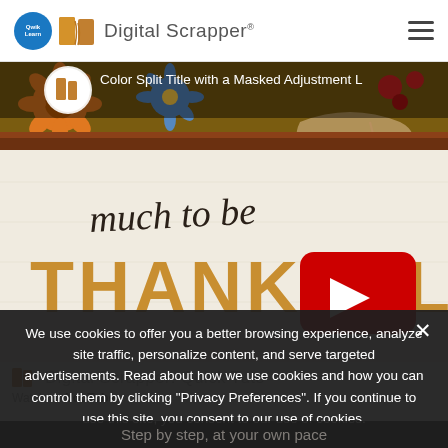Digital Scrapper
[Figure (screenshot): Video thumbnail for 'Color Split Title with a Masked Adjustment Layer' tutorial on Digital Scrapper. Shows a scrapbooking layout with autumn flowers, sunflowers, and the text 'much to be THANKFUL' with a YouTube play button overlay.]
[Figure (screenshot): Partial view of Digital Scrapper Quick Tutorial logo row and 'Watch on YouTube' text below the main video.]
We use cookies to offer you a better browsing experience, analyze site traffic, personalize content, and serve targeted advertisements. Read about how we use cookies and how you can control them by clicking "Privacy Preferences". If you continue to use this site, you consent to our use of cookies.
Step by step, at your own pace